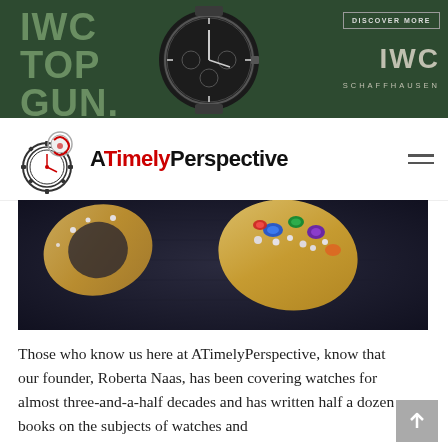[Figure (other): IWC TOP GUN advertisement banner. Dark green background with large text 'IWC TOP GUN.' on the left, a chronograph watch in the center, and on the right a 'DISCOVER MORE' button and 'IWC SCHAFFHAUSEN' branding.]
[Figure (logo): ATimelyPerspective website logo: gear/clock icon with red accent, next to the text 'ATimelyPerspective' where 'Timely' is in red.]
[Figure (photo): Close-up photograph of ornate jewelry pieces with gemstones on a dark fabric background.]
Those who know us here at ATimelyPerspective, know that our founder, Roberta Naas, has been covering watches for almost three-and-a-half decades and has written half a dozen books on the subjects of watches and